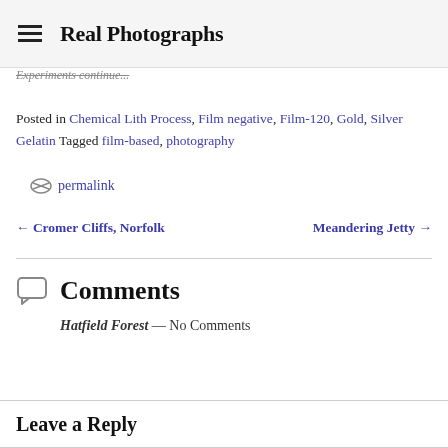Real Photographs
Experiments continue...
Posted in Chemical Lith Process, Film negative, Film-120, Gold, Silver Gelatin Tagged film-based, photography
permalink
← Cromer Cliffs, Norfolk   Meandering Jetty →
Comments
Hatfield Forest — No Comments
Leave a Reply